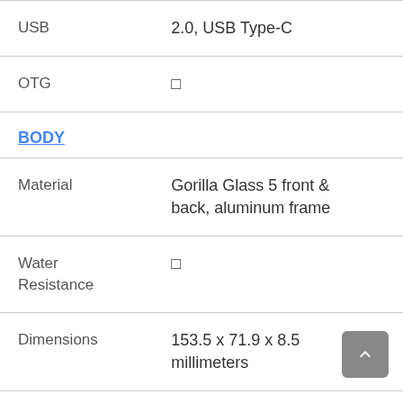| USB | 2.0, USB Type-C |
| OTG | ☐ |
| BODY |  |
| Material | Gorilla Glass 5 front & back, aluminum frame |
| Water Resistance | ☐ |
| Dimensions | 153.5 x 71.9 x 8.5 millimeters |
| Weight | 172.8 grams |